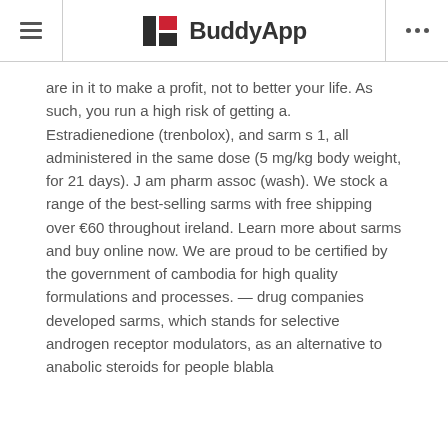BuddyApp
are in it to make a profit, not to better your life. As such, you run a high risk of getting a. Estradienedione (trenbolox), and sarm s 1, all administered in the same dose (5 mg/kg body weight, for 21 days). J am pharm assoc (wash). We stock a range of the best-selling sarms with free shipping over €60 throughout ireland. Learn more about sarms and buy online now. We are proud to be certified by the government of cambodia for high quality formulations and processes. — drug companies developed sarms, which stands for selective androgen receptor modulators, as an alternative to anabolic steroids for people blabla